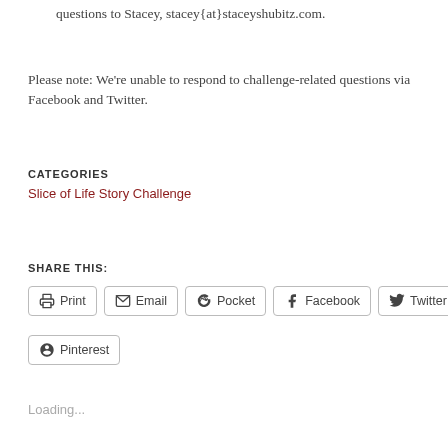questions to Stacey, stacey{at}staceyshubitz.com.
Please note: We're unable to respond to challenge-related questions via Facebook and Twitter.
CATEGORIES
Slice of Life Story Challenge
SHARE THIS:
Print  Email  Pocket  Facebook  Twitter  Pinterest
Loading...